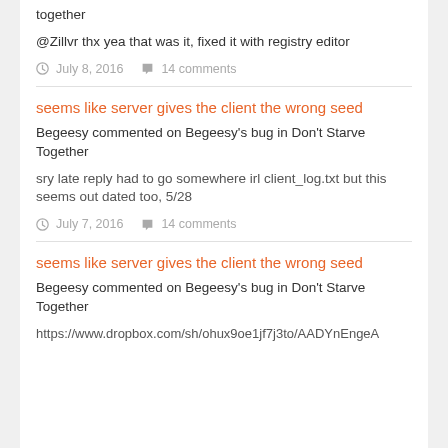together
@Zillvr thx yea that was it, fixed it with registry editor
July 8, 2016   14 comments
seems like server gives the client the wrong seed
Begeesy commented on Begeesy's bug in Don't Starve Together
sry late reply had to go somewhere irl client_log.txt but this seems out dated too, 5/28
July 7, 2016   14 comments
seems like server gives the client the wrong seed
Begeesy commented on Begeesy's bug in Don't Starve Together
https://www.dropbox.com/sh/ohux9oe1jf7j3to/AADYnEngeA